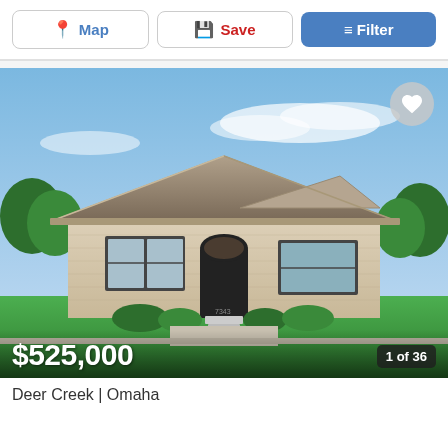Map | Save | Filter
[Figure (photo): Exterior photo of a single-story brick ranch-style home with hip roof, arched front entry, large windows, green lawn, and trees under a partly cloudy blue sky. Deer Creek, Omaha.]
$525,000
1 of 36
Deer Creek | Omaha